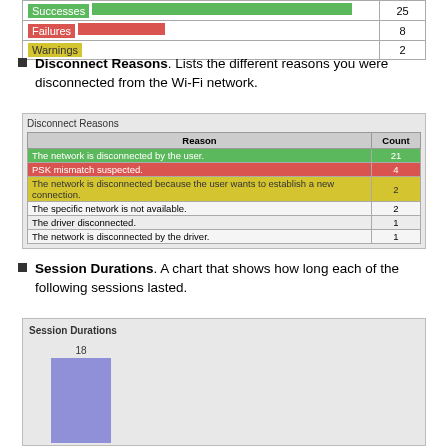|  | Count |
| --- | --- |
| Successes | 25 |
| Failures | 8 |
| Warnings | 2 |
Disconnect Reasons. Lists the different reasons you were disconnected from the Wi-Fi network.
| Reason | Count |
| --- | --- |
| The network is disconnected by the user. | 21 |
| PSK mismatch suspected. | 4 |
| The network is disconnected because the user wants to establish a new connection. | 2 |
| The specific network is not available. | 2 |
| The driver disconnected. | 1 |
| The network is disconnected by the driver. | 1 |
Session Durations. A chart that shows how long each of the following sessions lasted.
[Figure (bar-chart): Session Durations]